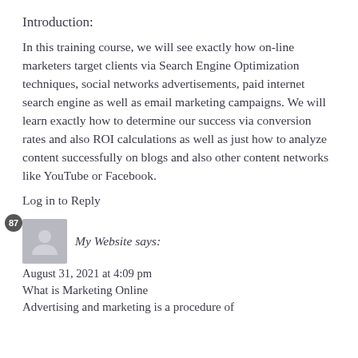Introduction:
In this training course, we will see exactly how on-line marketers target clients via Search Engine Optimization techniques, social networks advertisements, paid internet search engine as well as email marketing campaigns. We will learn exactly how to determine our success via conversion rates and also ROI calculations as well as just how to analyze content successfully on blogs and also other content networks like YouTube or Facebook.
Log in to Reply
My Website says:
August 31, 2021 at 4:09 pm
What is Marketing Online
Advertising and marketing is a procedure of